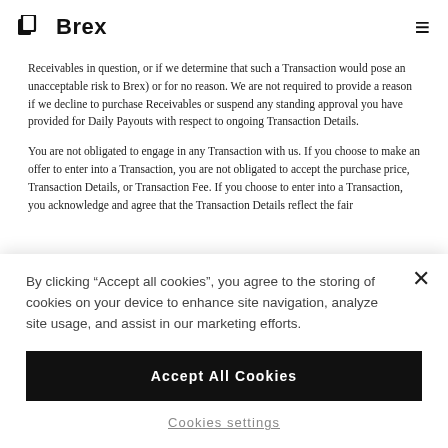Brex
Receivables in question, or if we determine that such a Transaction would pose an unacceptable risk to Brex) or for no reason. We are not required to provide a reason if we decline to purchase Receivables or suspend any standing approval you have provided for Daily Payouts with respect to ongoing Transaction Details.
You are not obligated to engage in any Transaction with us. If you choose to make an offer to enter into a Transaction, you are not obligated to accept the purchase price, Transaction Details, or Transaction Fee. If you choose to enter into a Transaction, you acknowledge and agree that the Transaction Details reflect the fair
By clicking “Accept all cookies”, you agree to the storing of cookies on your device to enhance site navigation, analyze site usage, and assist in our marketing efforts.
Accept All Cookies
Cookies settings